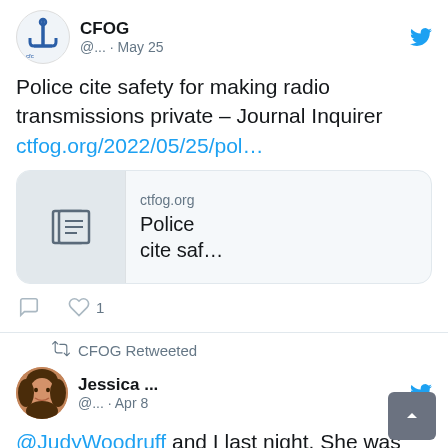[Figure (screenshot): Twitter/social media feed screenshot showing two tweet cards. First tweet by CFOG account from May 25 about police radio transmissions. Second tweet is a CFOG Retweet of Jessica's tweet from Apr 8 mentioning @JudyWoodruff and @ctfog's Walter Cronkite Freedom of Information award.]
CFOG @... · May 25
Police cite safety for making radio transmissions private – Journal Inquirer ctfog.org/2022/05/25/pol…
ctfog.org Police cite saf…
♡ 1
CFOG Retweeted
Jessica ... @... · Apr 8
@JudyWoodruff and I last night. She was given @ctfog's Walter Cronkite Freedom of Information